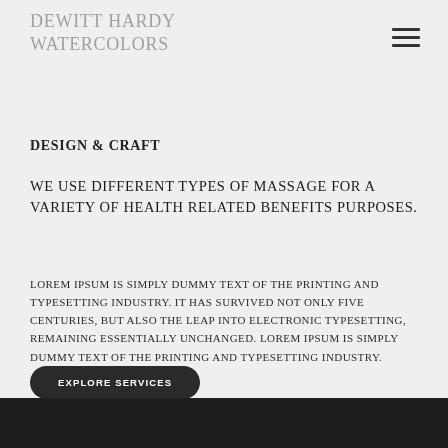DEWITT HARDY WATERCOLORS
DESIGN & CRAFT
WE USE DIFFERENT TYPES OF MASSAGE FOR A VARIETY OF HEALTH RELATED BENEFITS PURPOSES.
LOREM IPSUM IS SIMPLY DUMMY TEXT OF THE PRINTING AND TYPESETTING INDUSTRY. IT HAS SURVIVED NOT ONLY FIVE CENTURIES, BUT ALSO THE LEAP INTO ELECTRONIC TYPESETTING, REMAINING ESSENTIALLY UNCHANGED. LOREM IPSUM IS SIMPLY DUMMY TEXT OF THE PRINTING AND TYPESETTING INDUSTRY.
EXPLORE SERVICES